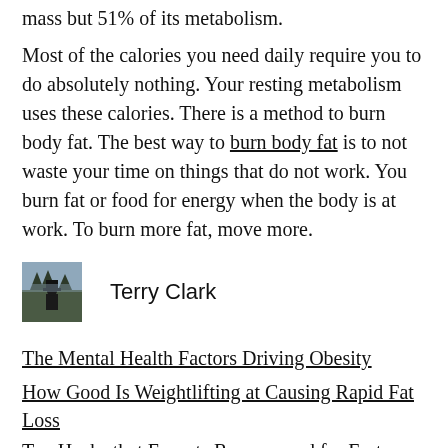mass but 51% of its metabolism.
Most of the calories you need daily require you to do absolutely nothing. Your resting metabolism uses these calories. There is a method to burn body fat. The best way to burn body fat is to not waste your time on things that do not work. You burn fat or food for energy when the body is at work. To burn more fat, move more.
[Figure (photo): Small portrait photo of a person wearing a hat, standing outdoors with trees in background, in muted gray-blue tones]
Terry Clark
The Mental Health Factors Driving Obesity
How Good Is Weightlifting at Causing Rapid Fat Loss
Top Hacks that Experts Recommend for Faster